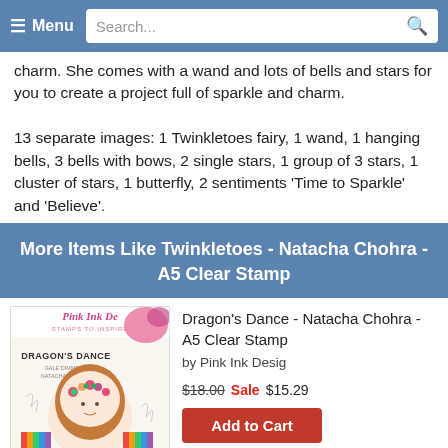≡ Menu   Search...
charm. She comes with a wand and lots of bells and stars for you to create a project full of sparkle and charm.

13 separate images: 1 Twinkletoes fairy, 1 wand, 1 hanging bells, 3 bells with bows, 2 single stars, 1 group of 3 stars, 1 cluster of stars, 1 butterfly, 2 sentiments 'Time to Sparkle' and 'Believe'.
More Items Like Twinkletoes - Natacha Chohra - A5 Clear Stamp
[Figure (photo): Dragon's Dance product stamp image by Pink Ink Designs showing a fairy/girl with floral crown illustration]
Dragon's Dance - Natacha Chohra - A5 Clear Stamp
by Pink Ink Desig
$18.00 Sale $15.29
Add to Cart
Top